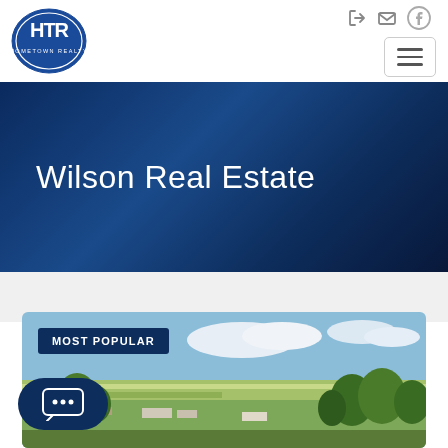[Figure (logo): HTR Hometown Realty circular blue logo with letters HTR]
Wilson Real Estate
MOST POPULAR
[Figure (photo): Aerial photo of a flat rural landscape with open fields, scattered trees, farm structures, blue sky with clouds — a real estate listing photo]
[Figure (illustration): Chat button with speech bubble and ellipsis icon]